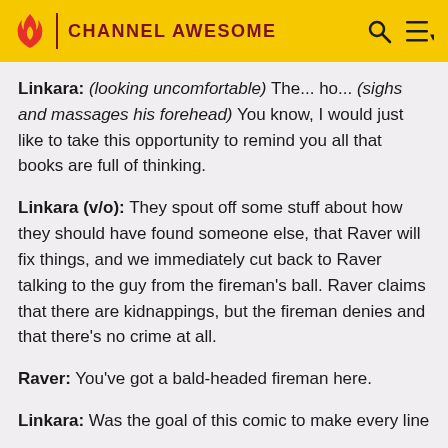CHANNEL AWESOME
Linkara: (looking uncomfortable) The... ho... (sighs and massages his forehead) You know, I would just like to take this opportunity to remind you all that books are full of thinking.
Linkara (v/o): They spout off some stuff about how they should have found someone else, that Raver will fix things, and we immediately cut back to Raver talking to the guy from the fireman's ball. Raver claims that there are kidnappings, but the fireman denies and that there's no crime at all.
Raver: You've got a bald-headed fireman here.
Linkara: Was the goal of this comic to make every line